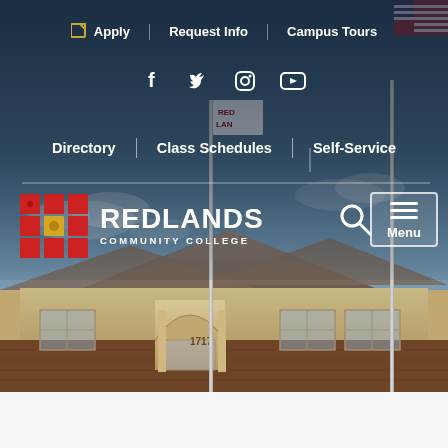[Figure (screenshot): Redlands Community College website screenshot showing navigation bar with Apply, Request Info, Campus Tours links, social media icons (Facebook, Twitter, Instagram, YouTube), secondary navigation with Directory, Class Schedules, Self-Service, college logo with red grid icon, search button, and Menu button, overlaid on a photo of the college building with flagpoles.]
Apply  Request Info  Campus Tours
Directory  Class Schedules  Self-Service
REDLANDS COMMUNITY COLLEGE